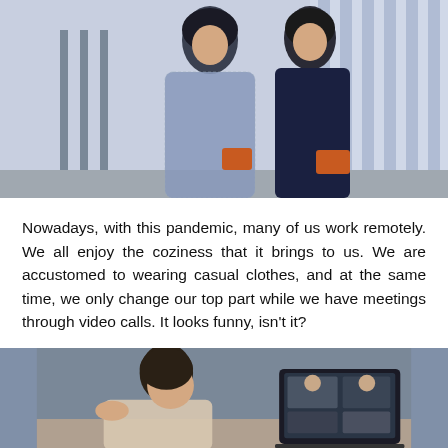[Figure (photo): Two women in professional business attire standing outdoors near a building with blue and white striped columns. One wears a patterned blazer suit and the other a navy blue dress, both holding orange clutch bags.]
Nowadays, with this pandemic, many of us work remotely. We all enjoy the coziness that it brings to us. We are accustomed to wearing casual clothes, and at the same time, we only change our top part while we have meetings through video calls. It looks funny, isn't it?
[Figure (photo): A woman with dark hair seen from the side, sitting in front of a laptop showing a video call with multiple participants. The background is a muted blue-grey wall.]